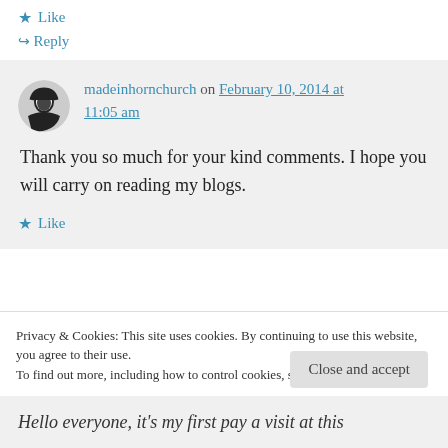★ Like
↪ Reply
madeinhornchurch on February 10, 2014 at 11:05 am
Thank you so much for your kind comments. I hope you will carry on reading my blogs.
★ Like
Privacy & Cookies: This site uses cookies. By continuing to use this website, you agree to their use. To find out more, including how to control cookies, see here: Cookie Policy
Close and accept
Hello everyone, it's my first pay a visit at this